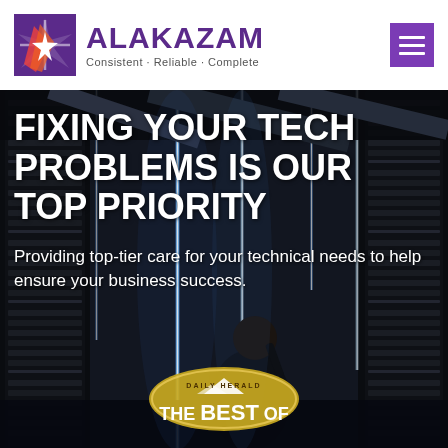[Figure (logo): Alakazam logo with star/lightning bolt icon in purple background, company name in purple bold text, tagline: Consistent · Reliable · Complete]
[Figure (illustration): Dark datacenter image with a technician working among server racks lit with blue/white LED lights. Hero banner background.]
FIXING YOUR TECH PROBLEMS IS OUR TOP PRIORITY
Providing top-tier care for your technical needs to help ensure your business success.
[Figure (logo): Daily Herald 'THE BEST OF' award badge/seal, partially visible at bottom of page]